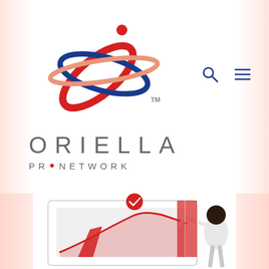[Figure (logo): Oriella PR Network logo: atomic/orbital symbol with red and blue swooping ellipses and a red dot, with TM mark]
[Figure (illustration): Navigation icons: magnifying glass (search) and hamburger menu in dark blue]
[Figure (logo): ORIELLA PR NETWORK wordmark in grey spaced letters with a red dot between PR and NETWORK]
[Figure (illustration): Illustration of a person pulling back a chart/graph graphic with a red checkmark badge, set against a soft pink background gradient on the sides]